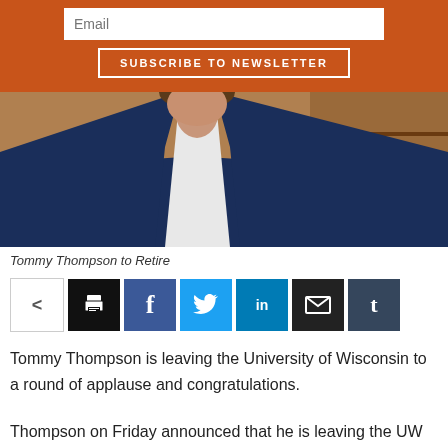[Figure (screenshot): Email subscription form with orange background, showing an Email input field and a 'Subscribe to Newsletter' button]
[Figure (photo): Photo of Tommy Thompson wearing a navy blue blazer and white shirt, standing in what appears to be an office with bookshelves and framed photos in the background]
Tommy Thompson to Retire
[Figure (infographic): Social sharing bar with icons for share, print, Facebook, Twitter, LinkedIn, email, and Tumblr]
Tommy Thompson is leaving the University of Wisconsin to a round of applause and congratulations.
Thompson on Friday announced that he is leaving the UW System as interim president in March.